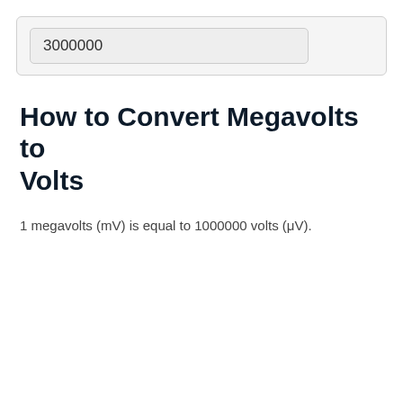3000000
How to Convert Megavolts to Volts
1 megavolts (mV) is equal to 1000000 volts (μV).